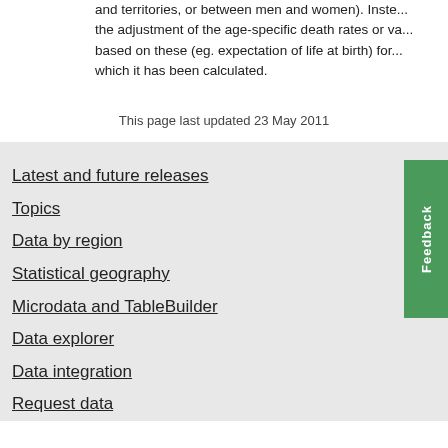and territories, or between men and women). Inste... the adjustment of the age-specific death rates or values based on these (eg. expectation of life at birth) for which it has been calculated.
This page last updated 23 May 2011
Latest and future releases
Topics
Data by region
Statistical geography
Microdata and TableBuilder
Data explorer
Data integration
Request data